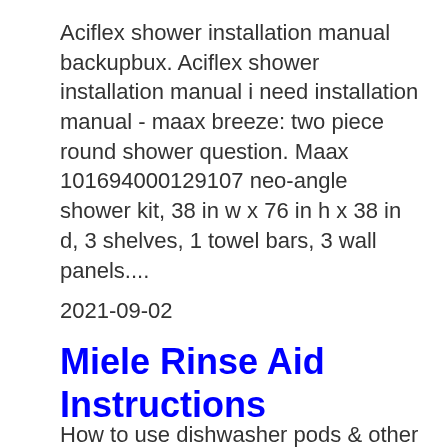Aciflex shower installation manual backupbux. Aciflex shower installation manual i need installation manual - maax breeze: two piece round shower question. Maax 101694000129107 neo-angle shower kit, 38 in w x 76 in h x 38 in d, 3 shelves, 1 towel bars, 3 wall panels....
2021-09-02
Miele Rinse Aid Instructions
How to use dishwasher pods & other